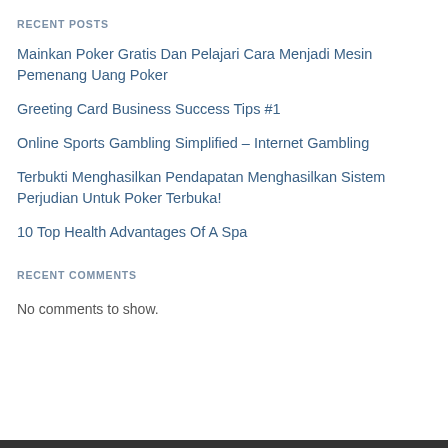RECENT POSTS
Mainkan Poker Gratis Dan Pelajari Cara Menjadi Mesin Pemenang Uang Poker
Greeting Card Business Success Tips #1
Online Sports Gambling Simplified – Internet Gambling
Terbukti Menghasilkan Pendapatan Menghasilkan Sistem Perjudian Untuk Poker Terbuka!
10 Top Health Advantages Of A Spa
RECENT COMMENTS
No comments to show.